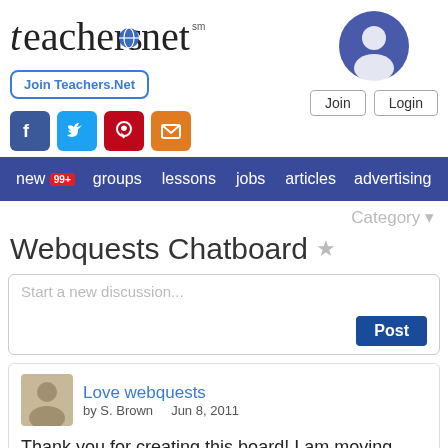[Figure (logo): teachers.Net logo with globe icon]
Join Teachers.Net
[Figure (infographic): Social media icons: Facebook, Twitter, Pinterest, Email]
[Figure (photo): User avatar circle icon (top right)]
Join   Login
new 99+  groups  lessons  jobs  articles  advertising
Category ▼
Webquests Chatboard ☆
Start a new discussion...
Post
Love webquests
by S. Brown    Jun 8, 2011
Thank you for creating this board! I am moving from MS to 4th grade and would love to use webquests at this level. Can't wait to see all of the ideas that come